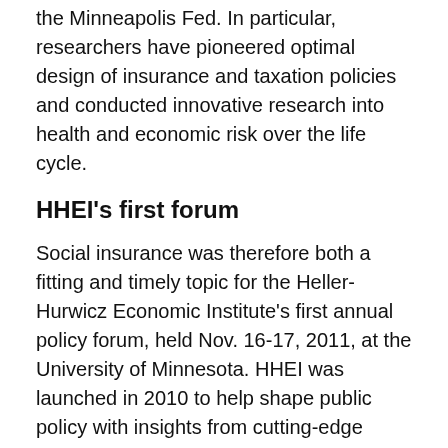the Minneapolis Fed. In particular, researchers have pioneered optimal design of insurance and taxation policies and conducted innovative research into health and economic risk over the life cycle.
HHEI's first forum
Social insurance was therefore both a fitting and timely topic for the Heller-Hurwicz Economic Institute's first annual policy forum, held Nov. 16-17, 2011, at the University of Minnesota. HHEI was launched in 2010 to help shape public policy with insights from cutting-edge economic research, and the design of social insurance programs builds solidly on the legacies of the institute's guiding lights, Walter Heller and Leo Hurwicz.
The “Inaugural Forum on Social Insurance” immersed its roughly 200 registered participants in theory, policy and practice. Both days began with presentations from